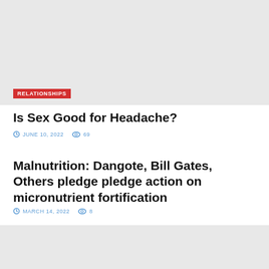[Figure (photo): Light gray placeholder image block at top of page with RELATIONSHIPS category tag overlay]
Is Sex Good for Headache?
JUNE 10, 2022   69
Malnutrition: Dangote, Bill Gates, Others pledge pledge action on micronutrient fortification
MARCH 14, 2022   8
[Figure (photo): Light gray placeholder image block at bottom of page]